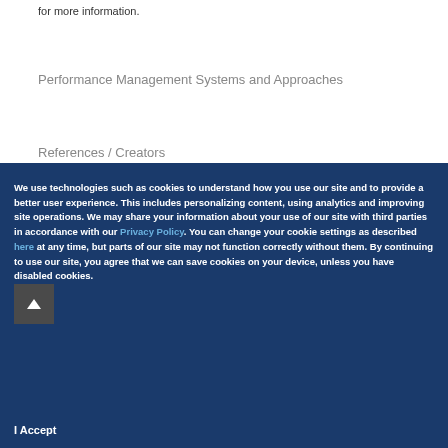for more information.
Performance Management Systems and Approaches
References / Creators
We use technologies such as cookies to understand how you use our site and to provide a better user experience. This includes personalizing content, using analytics and improving site operations. We may share your information about your use of our site with third parties in accordance with our Privacy Policy. You can change your cookie settings as described here at any time, but parts of our site may not function correctly without them. By continuing to use our site, you agree that we can save cookies on your device, unless you have disabled cookies.
I Accept